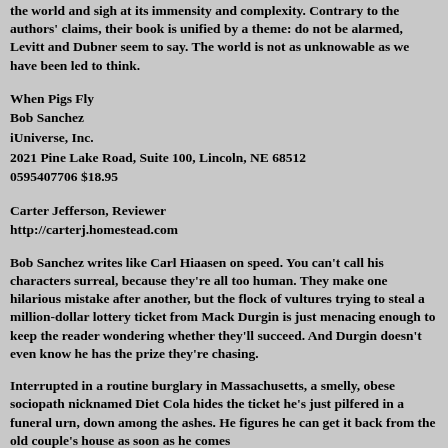the world and sigh at its immensity and complexity. Contrary to the authors' claims, their book is unified by a theme: do not be alarmed, Levitt and Dubner seem to say. The world is not as unknowable as we have been led to think.
When Pigs Fly
Bob Sanchez
iUniverse, Inc.
2021 Pine Lake Road, Suite 100, Lincoln, NE 68512
0595407706 $18.95
Carter Jefferson, Reviewer
http://carterj.homestead.com
Bob Sanchez writes like Carl Hiaasen on speed. You can't call his characters surreal, because they're all too human. They make one hilarious mistake after another, but the flock of vultures trying to steal a million-dollar lottery ticket from Mack Durgin is just menacing enough to keep the reader wondering whether they'll succeed. And Durgin doesn't even know he has the prize they're chasing.
Interrupted in a routine burglary in Massachusetts, a smelly, obese sociopath nicknamed Diet Cola hides the ticket he's just pilfered in a funeral urn, down among the ashes. He figures he can get it back from the old couple's house as soon as he comes